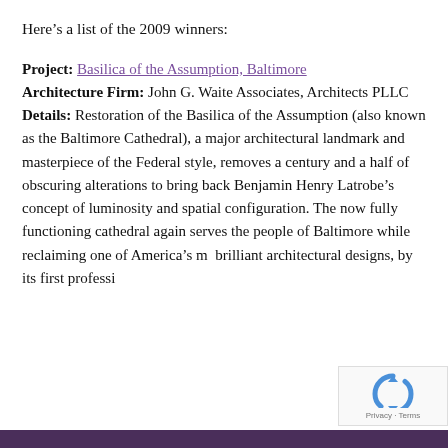Here’s a list of the 2009 winners:
Project: Basilica of the Assumption, Baltimore
Architecture Firm: John G. Waite Associates, Architects PLLC
Details: Restoration of the Basilica of the Assumption (also known as the Baltimore Cathedral), a major architectural landmark and masterpiece of the Federal style, removes a century and a half of obscuring alterations to bring back Benjamin Henry Latrobe’s concept of luminosity and spatial configuration. The now fully functioning cathedral again serves the people of Baltimore while reclaiming one of America’s most brilliant architectural designs, by its first professi